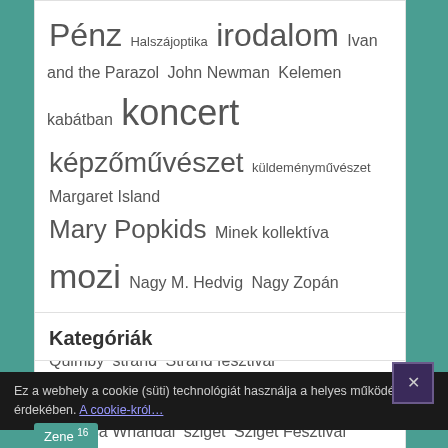Pénz Halszájoptika irodalom Ivan and the Parazol John Newman Kelemen kabátban koncert képzőművészet küldeményművészet Margaret Island Mary Popkids Minek kollektíva mozi Nagy M. Hedvig Nagy Zopán Necc party Parov Stelar portré Quimby strand Strand fesztival Strandfesztivál Syporca Whandal sziget Sziget Fesztivál Tankcsapda tűzijáték vidámság YouTube Zamárdi zene Z generáció [en] ének
Kategóriák
Ez a webhely a cookie (süti) technológiát használja a helyes működés érdekében. A cookie-król…
Zene 16